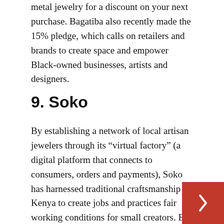metal jewelry for a discount on your next purchase. Bagatiba also recently made the 15% pledge, which calls on retailers and brands to create space and empower Black-owned businesses, artists and designers.
9. Soko
By establishing a network of local artisan jewelers through its “virtual factory” (a digital platform that connects to consumers, orders and payments), Soko has harnessed traditional craftsmanship in Kenya to create jobs and practices fair working conditions for small creators. But Soko’s commitment to fair trade doesn’t stop there: each piece is also handcrafted from eco-friendly materials like recycled brass and reclaimed cow horn.